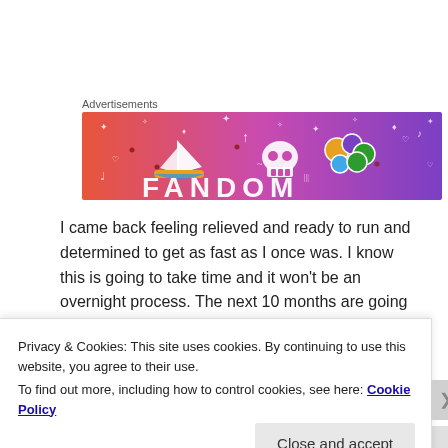Advertisements
[Figure (illustration): Fandom advertisement banner with colorful gradient background (orange to purple), featuring illustrated icons including a sailboat, skull, dice, and the text FANDOM at the bottom.]
I came back feeling relieved and ready to run and determined to get as fast as I once was. I know this is going to take time and it won't be an overnight process. The next 10 months are going to be filled with running and
Privacy & Cookies: This site uses cookies. By continuing to use this website, you agree to their use.
To find out more, including how to control cookies, see here: Cookie Policy
Close and accept